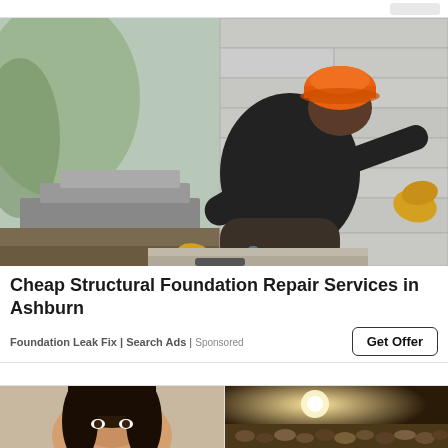[Figure (photo): Construction worker wearing orange hard hat and yellow gloves, kneeling and working on a concrete foundation wall with cinder blocks]
Cheap Structural Foundation Repair Services in Ashburn
Foundation Leak Fix | Search Ads | Sponsored
[Figure (photo): Two partial images at the bottom: left shows a woman's face (dark hair), right shows an interior room with warm lighting and decorative stones/pebbles]